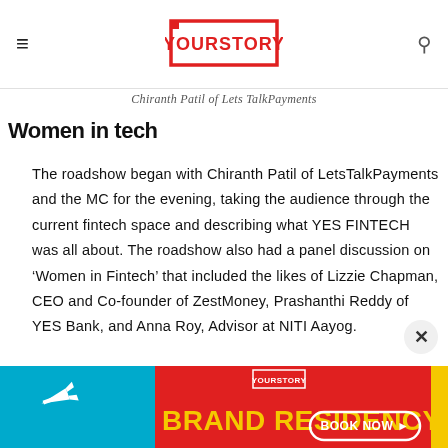YourStory
Chiranth Patil of Lets TalkPayments
Women in tech
The roadshow began with Chiranth Patil of LetsTalkPayments and the MC for the evening, taking the audience through the current fintech space and describing what YES FINTECH was all about. The roadshow also had a panel discussion on ‘Women in Fintech’ that included the likes of Lizzie Chapman, CEO and Co-founder of ZestMoney, Prashanthi Reddy of YES Bank, and Anna Roy, Advisor at NITI Aayog.
[Figure (infographic): YourStory Brand Residency advertisement banner with red and yellow background, airplane icon, YourStory logo, 'BRAND RESIDENCY' text in large yellow letters, and 'BOOK NOW' button.]